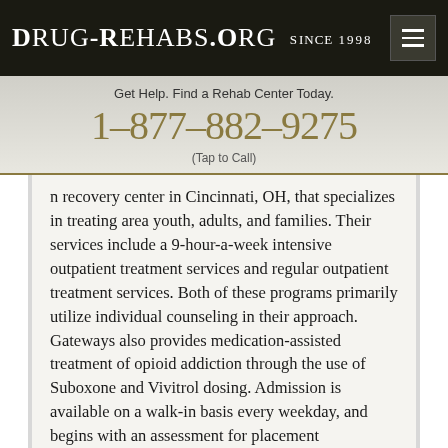Drug-Rehabs.org Since 1998
Get Help. Find a Rehab Center Today.
1-877-882-9275
(Tap to Call)
n recovery center in Cincinnati, OH, that specializes in treating area youth, adults, and families. Their services include a 9-hour-a-week intensive outpatient treatment services and regular outpatient treatment services. Both of these programs primarily utilize individual counseling in their approach. Gateways also provides medication-assisted treatment of opioid addiction through the use of Suboxone and Vivitrol dosing. Admission is available on a walk-in basis every weekday, and begins with an assessment for placement...